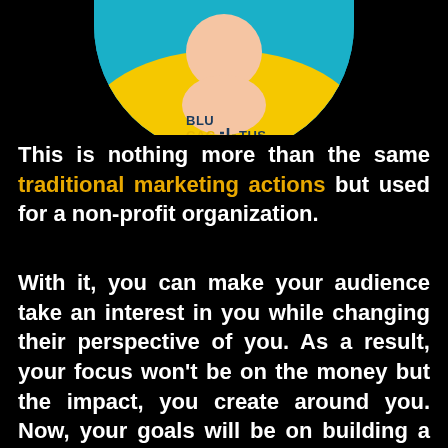[Figure (logo): BluCactus logo with circular design showing a person avatar, blue and yellow background with cactus icon]
This is nothing more than the same traditional marketing actions but used for a non-profit organization.
With it, you can make your audience take an interest in you while changing their perspective of you. As a result, your focus won’t be on the money but the impact, you create around you. Now, your goals will be on building a healthy relationship between your organization and different communities.